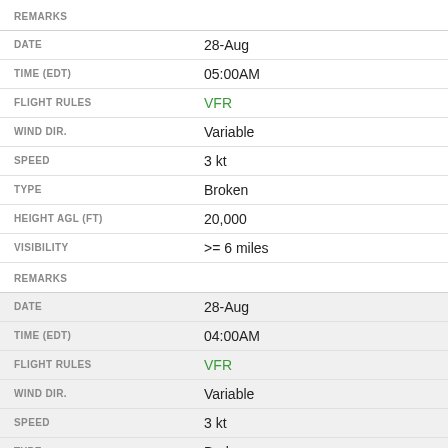REMARKS
DATE: 28-Aug
TIME (EDT): 05:00AM
FLIGHT RULES: VFR
WIND DIR.: Variable
SPEED: 3 kt
TYPE: Broken
HEIGHT AGL (FT): 20,000
VISIBILITY: >= 6 miles
REMARKS
DATE: 28-Aug
TIME (EDT): 04:00AM
FLIGHT RULES: VFR
WIND DIR.: Variable
SPEED: 3 kt
TYPE: Broken
HEIGHT AGL (FT): 20,000
VISIBILITY: >= 6 miles
REMARKS
DATE: 28-Aug